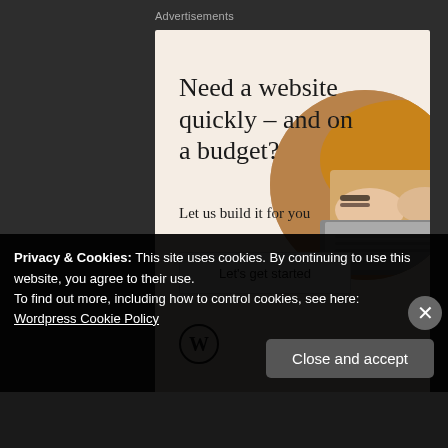Advertisements
[Figure (illustration): WordPress advertisement banner with beige/cream background. Large serif headline: 'Need a website quickly – and on a budget?' Subtext: 'Let us build it for you'. White button: 'Let's get started'. WordPress logo (W in circle) at bottom left. Circular photo of hands typing on a laptop in upper right area.]
REPORT THIS AD
Let's just say that this feather-light low-profile
Privacy & Cookies: This site uses cookies. By continuing to use this website, you agree to their use.
To find out more, including how to control cookies, see here: Wordpress Cookie Policy